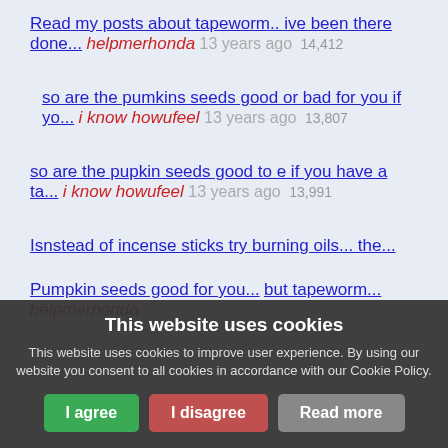Read my posts about tapeworm.. ive been there done... helpmerhonda 13 years ago 14,412
so are the pumkins seeds good or bad for you if yo... i know howufeel 13 years ago 13,807
so are the pupkin seeds good to e if you have a ta... i know howufeel 13 years ago 13,991
Isnstead of incense sticks try burning oils... the...
Pumpkin seeds good for you... but tapeworm... helpmerhonda
This website uses cookies
This website uses cookies to improve user experience. By using our website you consent to all cookies in accordance with our Cookie Policy.
I agree  I disagree  Read more